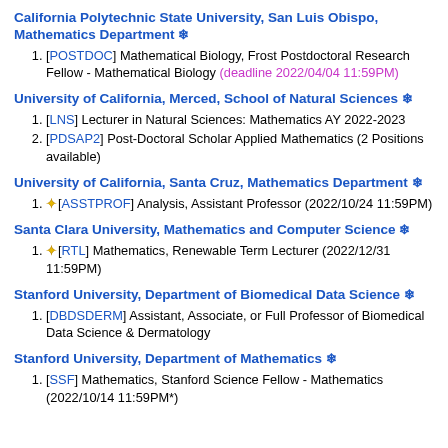California Polytechnic State University, San Luis Obispo, Mathematics Department ❄
[POSTDOC] Mathematical Biology, Frost Postdoctoral Research Fellow - Mathematical Biology (deadline 2022/04/04 11:59PM)
University of California, Merced, School of Natural Sciences ❄
[LNS] Lecturer in Natural Sciences: Mathematics AY 2022-2023
[PDSAP2] Post-Doctoral Scholar Applied Mathematics (2 Positions available)
University of California, Santa Cruz, Mathematics Department ❄
★[ASSTPROF] Analysis, Assistant Professor (2022/10/24 11:59PM)
Santa Clara University, Mathematics and Computer Science ❄
★[RTL] Mathematics, Renewable Term Lecturer (2022/12/31 11:59PM)
Stanford University, Department of Biomedical Data Science ❄
[DBDSDERM] Assistant, Associate, or Full Professor of Biomedical Data Science & Dermatology
Stanford University, Department of Mathematics ❄
[SSF] Mathematics, Stanford Science Fellow - Mathematics (2022/10/14 11:59PM*)